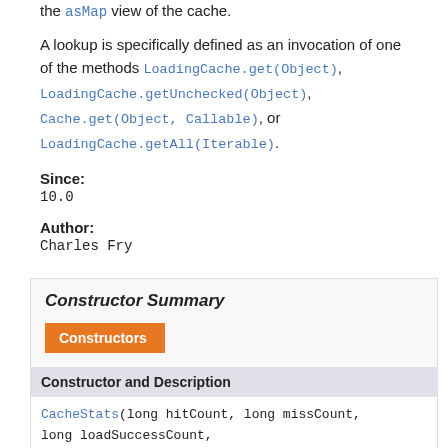the asMap view of the cache.
A lookup is specifically defined as an invocation of one of the methods LoadingCache.get(Object), LoadingCache.getUnchecked(Object), Cache.get(Object, Callable), or LoadingCache.getAll(Iterable).
Since:
10.0
Author:
Charles Fry
Constructor Summary
| Constructor and Description |
| --- |
| CacheStats(long hitCount, long missCount,
long loadSuccessCount,
long loadExceptionCount,
long totalLoadTime, long evictionCount) |